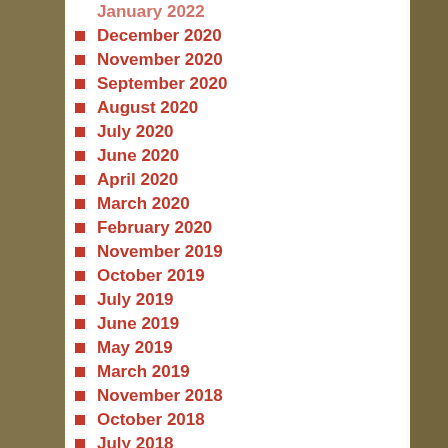January 2022
December 2020
November 2020
September 2020
August 2020
July 2020
June 2020
April 2020
March 2020
February 2020
November 2019
October 2019
July 2019
June 2019
May 2019
March 2019
November 2018
October 2018
July 2018
June 2018
May 2018
April 2018